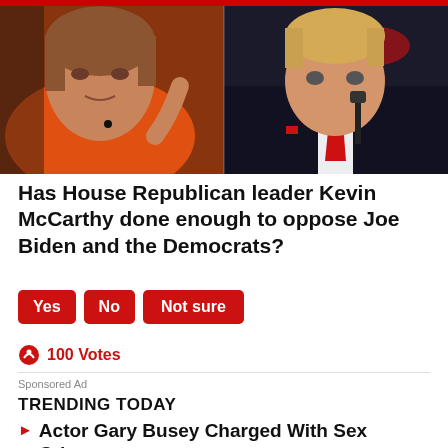[Figure (photo): Side-by-side photos of Nancy Pelosi (left, in orange jacket, gesturing) and Donald Trump (right, in dark suit with red tie, speaking at microphone)]
Has House Republican leader Kevin McCarthy done enough to oppose Joe Biden and the Democrats?
Yes  No  Not sure
100 Votes
Sponsored Ad
TRENDING TODAY
Actor Gary Busey Charged With Sex Crimes